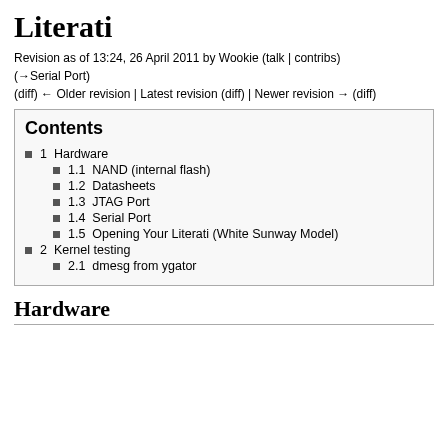Literati
Revision as of 13:24, 26 April 2011 by Wookie (talk | contribs)
(→Serial Port)
(diff) ← Older revision | Latest revision (diff) | Newer revision → (diff)
Contents
1  Hardware
1.1  NAND (internal flash)
1.2  Datasheets
1.3  JTAG Port
1.4  Serial Port
1.5  Opening Your Literati (White Sunway Model)
2  Kernel testing
2.1  dmesg from ygator
Hardware